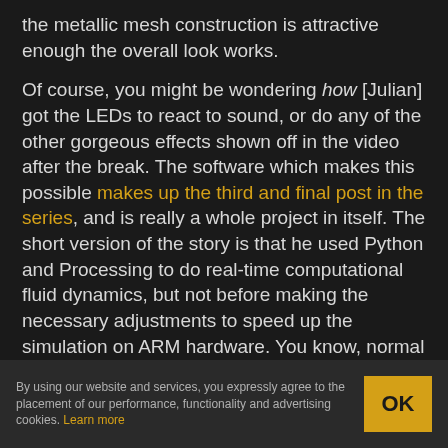the metallic mesh construction is attractive enough the overall look works.
Of course, you might be wondering how [Julian] got the LEDs to react to sound, or do any of the other gorgeous effects shown off in the video after the break. The software which makes this possible makes up the third and final post in the series, and is really a whole project in itself. The short version of the story is that he used Python and Processing to do real-time computational fluid dynamics, but not before making the necessary adjustments to speed up the simulation on ARM hardware. You know, normal lamp stuff.
By using our website and services, you expressly agree to the placement of our performance, functionality and advertising cookies. Learn more